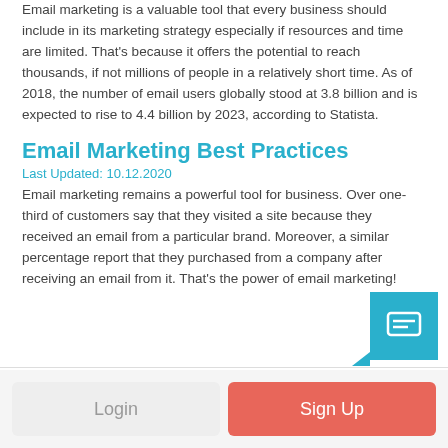Email marketing is a valuable tool that every business should include in its marketing strategy especially if resources and time are limited. That's because it offers the potential to reach thousands, if not millions of people in a relatively short time. As of 2018, the number of email users globally stood at 3.8 billion and is expected to rise to 4.4 billion by 2023, according to Statista.
Email Marketing Best Practices
Last Updated: 10.12.2020
Email marketing remains a powerful tool for business. Over one-third of customers say that they visited a site because they received an email from a particular brand. Moreover, a similar percentage report that they purchased from a company after receiving an email from it. That's the power of email marketing!
Login | Sign Up